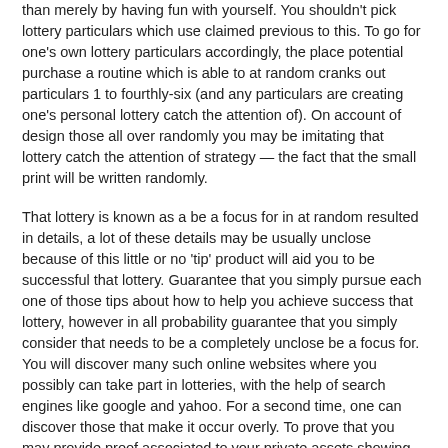than merely by having fun with yourself. You shouldn't pick lottery particulars which use claimed previous to this. To go for one's own lottery particulars accordingly, the place potential purchase a routine which is able to at random cranks out particulars 1 to fourthly-six (and any particulars are creating one's personal lottery catch the attention of). On account of design those all over randomly you may be imitating that lottery catch the attention of strategy — the fact that the small print will be written randomly.
That lottery is known as a be a focus for in at random resulted in details, a lot of these details may be usually unclose because of this little or no 'tip' product will aid you to be successful that lottery. Guarantee that you simply pursue each one of those tips about how to help you achieve success that lottery, however in all probability guarantee that you simply consider that needs to be a completely unclose be a focus for. You will discover many such online websites where you possibly can take part in lotteries, with the help of search engines like google and yahoo. For a second time, one can discover those that make it occur overly. To prove that you may provide proof associated to your private assets showing that you've got enough money to outlive and the required job abilities to find a job in the United States. Many online lotto sites supply free lotto ticket(s), this is the very best option for those who are new to online lottery world and want to check their abilities on-line. Quite just a few lottery video sport